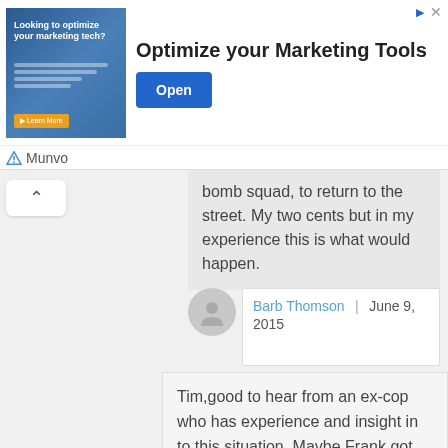[Figure (screenshot): Advertisement banner for Munvo marketing tools with 'Optimize your Marketing Tools' headline and Open button]
bomb squad, to return to the street. My two cents but in my experience this is what would happen.
Barb Thomson | June 9, 2015
Tim,good to hear from an ex-cop who has experience and insight in to this situation. Maybe Frank got let go by Inspector Jarvis cuz he also was in the know about Marlo's Bipolar condition. Marlo